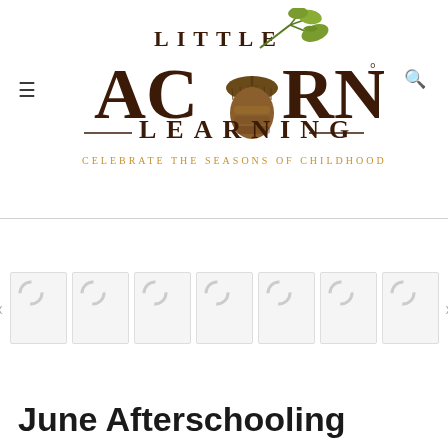[Figure (logo): Little Acorn Learning logo with oak tree branches and acorn, text reads LITTLE ACORN LEARNING, tagline CELEBRATE THE SEASONS OF CHILDHOOD]
[Figure (screenshot): Image slider/carousel with 7 thumbnail images loading (showing spinner indicators) with left and right navigation arrows]
June Afterschooling